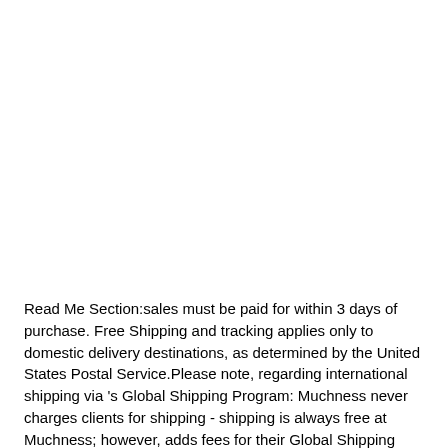Read Me Section:sales must be paid for within 3 days of purchase. Free Shipping and tracking applies only to domestic delivery destinations, as determined by the United States Postal Service.Please note, regarding international shipping via 's Global Shipping Program: Muchness never charges clients for shipping - shipping is always free at Muchness; however, adds fees for their Global Shipping Program. We do not have any control over the charges adds, unfortunately, and cannot change them.Packages may be mailed from a separate Muchness of Disney shipping facility